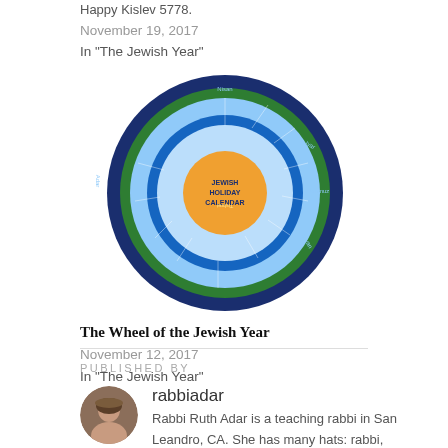Happy Kislev 5778.
November 19, 2017
In "The Jewish Year"
[Figure (illustration): Circular Jewish Holiday Calendar wheel diagram with concentric rings showing months and holidays, blue and green color scheme with orange center labeled 'Jewish Holiday Calendar']
The Wheel of the Jewish Year
November 12, 2017
In "The Jewish Year"
PUBLISHED BY
rabbiadar
Rabbi Ruth Adar is a teaching rabbi in San Leandro, CA. She has many hats: rabbi, granny, and ham radio operator K6RAV. She blogs at http://coffeehouserabb.com/ and teaches at